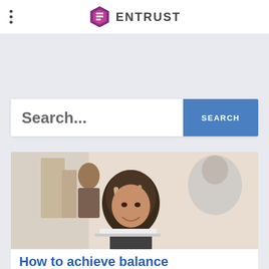ENTRUST
[Figure (screenshot): Search bar with placeholder text 'Search...' and a blue 'SEARCH' button]
[Figure (photo): Woman smiling at laptop in an office environment, people in background]
How to achieve balance